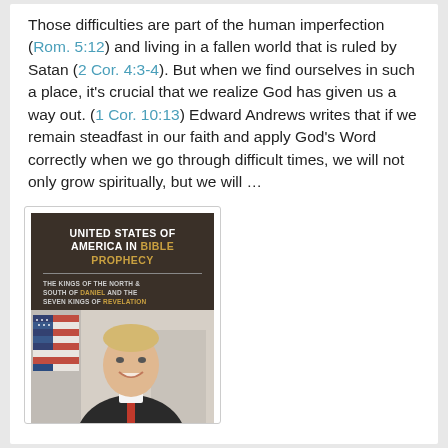Those difficulties are part of the human imperfection (Rom. 5:12) and living in a fallen world that is ruled by Satan (2 Cor. 4:3-4). But when we find ourselves in such a place, it's crucial that we realize God has given us a way out. (1 Cor. 10:13) Edward Andrews writes that if we remain steadfast in our faith and apply God's Word correctly when we go through difficult times, we will not only grow spiritually, but we will …
[Figure (photo): Book cover of 'United States of America in Bible Prophecy: The Kings of the North & South of Daniel and the Seven Kings of Revelation', with a photo of a smiling man in front of an American flag on the bottom half of the cover.]